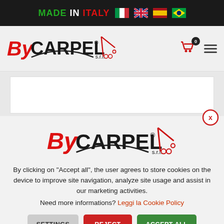MADE IN ITALY [flags: Italian, UK, Spanish, Brazilian]
[Figure (logo): By CARPEL s.r.l. logo with red and black text and crane arm graphic, small version in navigation header]
[Figure (logo): By CARPEL s.r.l. logo with red and black text and crane arm graphic, large version in cookie consent modal]
By clicking on "Accept all", the user agrees to store cookies on the device to improve site navigation, analyze site usage and assist in our marketing activities.
Need more informations? Leggi la Cookie Policy
SETTINGS  REJECT  ACCEPT ALL